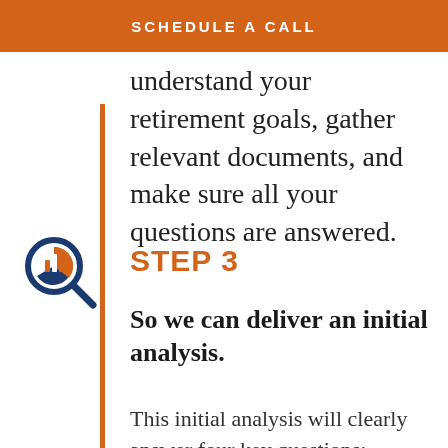SCHEDULE A CALL
understand your retirement goals, gather relevant documents, and make sure all your questions are answered.
STEP 3
So we can deliver an initial analysis.
This initial analysis will clearly answer four key questions: